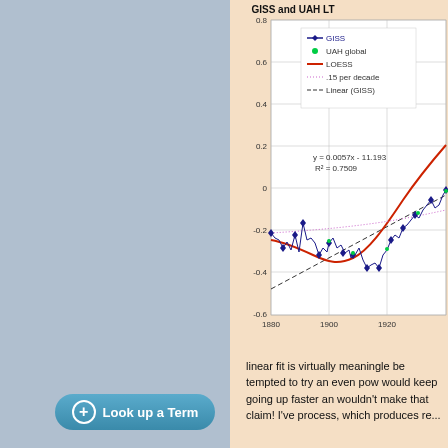[Figure (continuous-plot): Line chart showing GISS surface temperature and UAH lower troposphere temperature anomalies from 1880 to ~1930+. Contains GISS (dark blue line with diamond markers), UAH global (green dots), LOESS smoothing (red curve), .15 per decade (pink dotted line), and Linear (GISS) dashed black line. Equation: y = 0.0057x - 11.193, R² = 0.7509. Y-axis from -0.6 to 0.8, X-axis from 1880 to ~1930.]
linear fit is virtually meaningle be tempted to try an even pow would keep going up faster an wouldn't make that claim! I've process, which produces re...